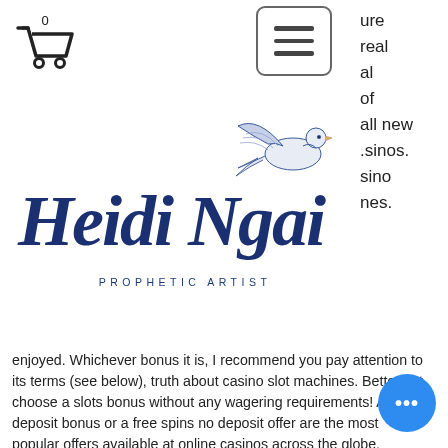[Figure (logo): Shopping cart icon with 0 badge]
[Figure (illustration): Hamburger menu button (three horizontal lines in a rounded rectangle border)]
ure
real
al
of
all new
.sinos.
sino
nes.
[Figure (illustration): Heidi Ngai Prophetic Artist logo with a dove/bird illustration]
enjoyed. Whichever bonus it is, I recommend you pay attention to its terms (see below), truth about casino slot machines. Better yet, choose a slots bonus without any wagering requirements! A no deposit bonus or a free spins no deposit offer are the most popular offers available at online casinos across the globe, direction to ris.ing star casino in.......................................................iy. These deals essentially grant you a risk-free way of trying out a new online casino. Players at Slots Plus Casino are eligible to claim only one bonus at a time wherein, two